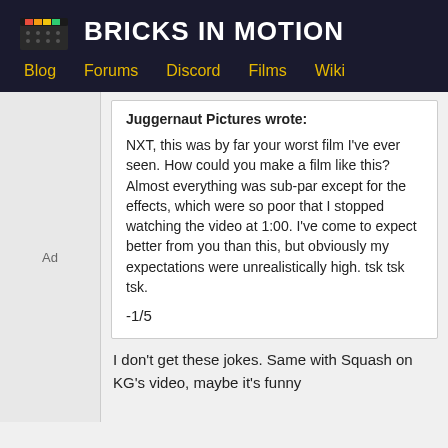BRICKS IN MOTION
Blog  Forums  Discord  Films  Wiki
Juggernaut Pictures wrote:
NXT, this was by far your worst film I've ever seen. How could you make a film like this? Almost everything was sub-par except for the effects, which were so poor that I stopped watching the video at 1:00. I've come to expect better from you than this, but obviously my expectations were unrealistically high. tsk tsk tsk.

-1/5
Ad
I don't get these jokes. Same with Squash on KG's video, maybe it's funny